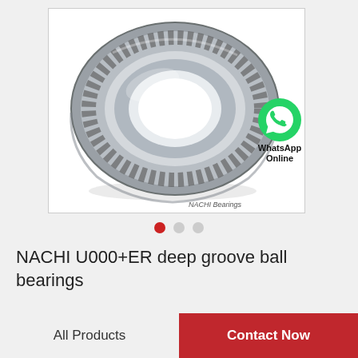[Figure (photo): NACHI tapered roller bearing / deep groove ball bearing shown in perspective view, metallic silver color with visible rolling elements along the outer race. Watermark 'NACHI Bearings' at bottom right of image.]
WhatsApp Online
● ○ ○
NACHI U000+ER deep groove ball bearings
All Products
Contact Now